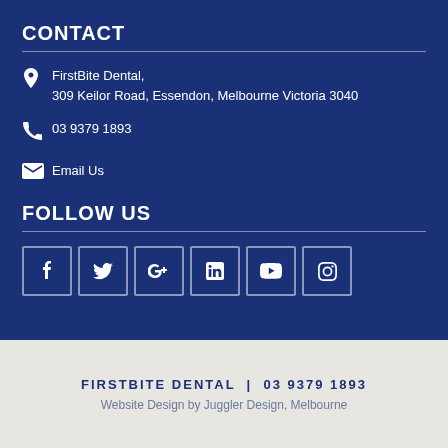CONTACT
FirstBite Dental, 309 Keilor Road, Essendon, Melbourne Victoria 3040
03 9379 1893
Email Us
FOLLOW US
[Figure (other): Social media icon buttons: Facebook, Twitter, Google+, LinkedIn, YouTube, Instagram]
FIRSTBITE DENTAL  |  03 9379 1893
Website Design by Juggler Design, Melbourne